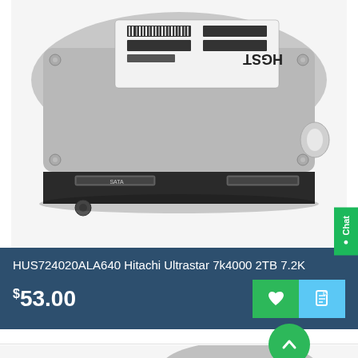[Figure (photo): Close-up photo of an HGST hard disk drive (HDD) showing the top label with barcodes and product information, and the front edge with connector ports. The drive has a silver/metallic top and dark gray body.]
Chat
HUS724020ALA640 Hitachi Ultrastar 7k4000 2TB 7.2K
$53.00
[Figure (photo): Partial view of another hard disk drive at the bottom of the page, partially cut off.]